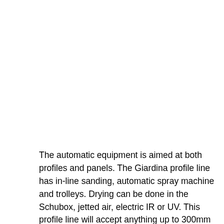The automatic equipment is aimed at both profiles and panels. The Giardina profile line has in-line sanding, automatic spray machine and trolleys. Drying can be done in the Schubox, jetted air, electric IR or UV. This profile line will accept anything up to 300mm wide and any length, down to 500mm. The Giardina roller-spec line contains hot jetted air, electric IR and a separate